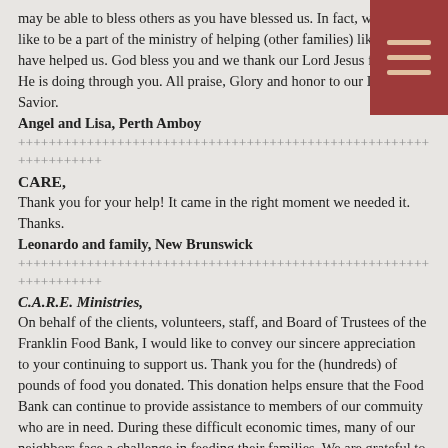may be able to bless others as you have blessed us. In fact, we would like to be a part of the ministry of helping (other families) like you have helped us. God bless you and we thank our Lord Jesus for what He is doing through you. All praise, Glory and honor to our Lord and Savior.
Angel and Lisa, Perth Amboy
+++++++++++++++++++++++++++++++++++++++++++++++++++++++++++++
++++
CARE,
Thank you for your help! It came in the right moment we needed it. Thanks.
Leonardo and family, New Brunswick
+++++++++++++++++++++++++++++++++++++++++++++++++++++++++++++
++++
C.A.R.E. Ministries,
On behalf of the clients, volunteers, staff, and Board of Trustees of the Franklin Food Bank, I would like to convey our sincere appreciation to your continuing to support us. Thank you for the (hundreds) of pounds of food you donated. This donation helps ensure that the Food Bank can continue to provide assistance to members of our commuity who are in need. During these difficult economic times, many of our neighbors face a challenge in feeding their families. We are grateful to C.A.R.E. Ministries, Inc. for helping make a difference.
Frank Hasner, Executive Director
Franklin Township Food Bank
+++++++++++++++++++++++++++++++++++++++++++++++++++
Thank you, thank you very very much. You've been a big blessing to my family. I thank God for your ministry. God bless you all. My whole family thanks you.